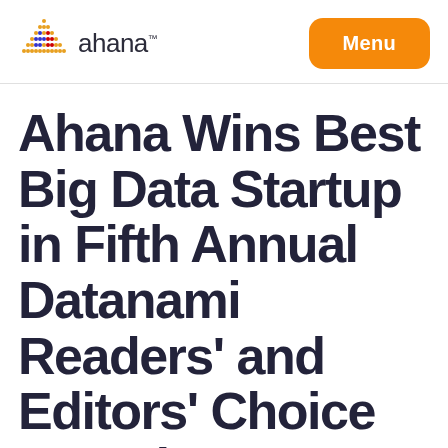ahana Menu
Ahana Wins Best Big Data Startup in Fifth Annual Datanami Readers' and Editors' Choice Awards